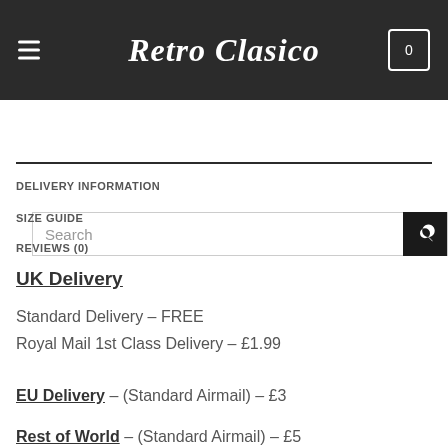Retro Clasico
Search
DELIVERY INFORMATION
SIZE GUIDE
REVIEWS (0)
UK Delivery
Standard Delivery – FREE
Royal Mail 1st Class Delivery – £1.99
EU Delivery – (Standard Airmail) – £3
Rest of World – (Standard Airmail) – £5